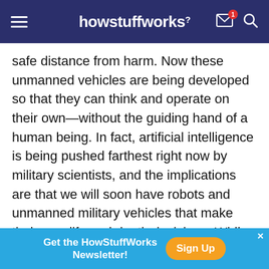howstuffworks
safe distance from harm. Now these unmanned vehicles are being developed so that they can think and operate on their own—without the guiding hand of a human being. In fact, artificial intelligence is being pushed farthest right now by military scientists, and the implications are that we will soon have robots and unmanned military vehicles that make their own life and death decisions. While military planners say this is in the interest of keeping soldiers safe in combat, critics claim it is like giving robots a license to kill.
Get the HowStuffWorks Newsletter! Sign Up